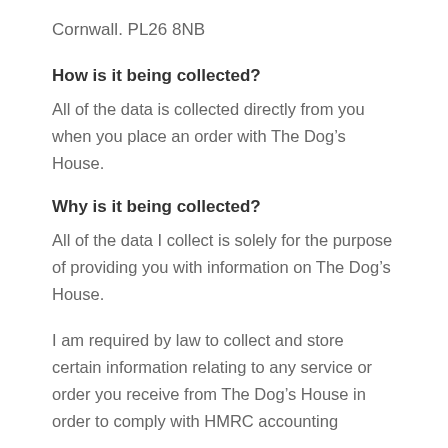Cornwall. PL26 8NB
How is it being collected?
All of the data is collected directly from you when you place an order with The Dog’s House.
Why is it being collected?
All of the data I collect is solely for the purpose of providing you with information on The Dog’s House.
I am required by law to collect and store certain information relating to any service or order you receive from The Dog’s House in order to comply with HMRC accounting